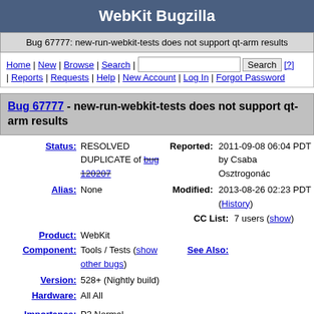WebKit Bugzilla
Bug 67777: new-run-webkit-tests does not support qt-arm results
Home | New | Browse | Search | [Search] [?] | Reports | Requests | Help | New Account | Log In | Forgot Password
Bug 67777 - new-run-webkit-tests does not support qt-arm results
| Field | Value |
| --- | --- |
| Status: | RESOLVED DUPLICATE of bug 120207 |
| Reported: | 2011-09-08 06:04 PDT by Csaba Osztrogonác |
| Alias: | None |
| Modified: | 2013-08-26 02:23 PDT (History) |
| Product: | WebKit |
| CC List: | 7 users (show) |
| Component: | Tools / Tests (show other bugs) |
| See Also: |  |
| Version: | 528+ (Nightly build) |
| Hardware: | All All |
| Importance: | P3 Normal |
| Assignee: | Nobody |
| URL: |  |